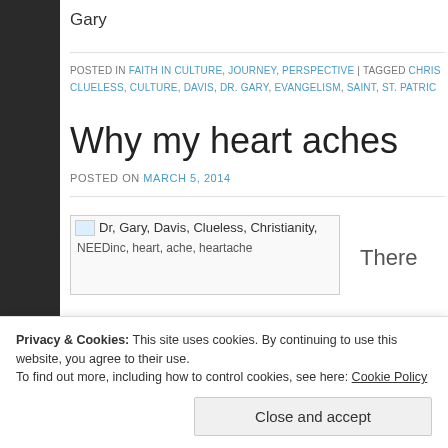Gary
POSTED IN FAITH IN CULTURE, JOURNEY, PERSPECTIVE | TAGGED CHRIS... CLUELESS, CULTURE, DAVIS, DR. GARY, EVANGELISM, SAINT, ST. PATRIC...
Why my heart aches
POSTED ON MARCH 5, 2014
[Figure (photo): Image placeholder with alt text: Dr, Gary, Davis, Clueless, Christianity, NEEDinc, heart, ache, heartache]
There
Privacy & Cookies: This site uses cookies. By continuing to use this website, you agree to their use. To find out more, including how to control cookies, see here: Cookie Policy
Close and accept